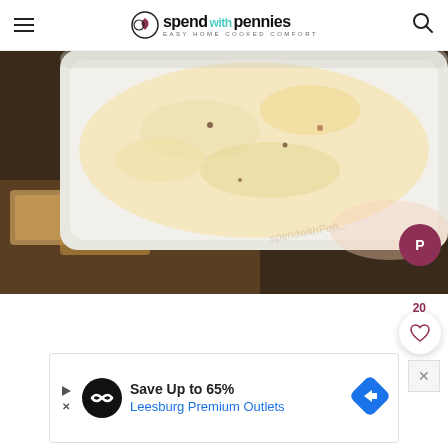spend with pennies — Easy Home Cooked Comfort
[Figure (photo): Close-up photo of a white baking dish with cheesy baked dip, surrounded by crackers on a dark background. Watermark visible.]
20
[Figure (infographic): Advertisement banner: Save Up to 65% Leesburg Premium Outlets]